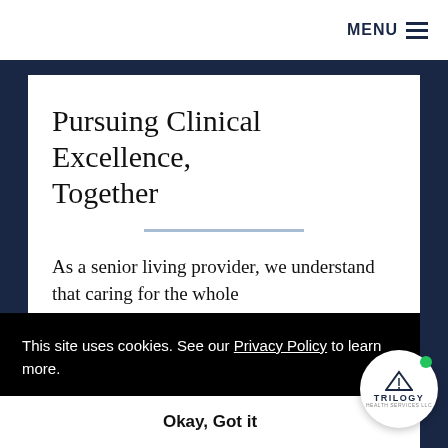MENU
Pursuing Clinical Excellence, Together
As a senior living provider, we understand that caring for the whole
This site uses cookies. See our Privacy Policy to learn more.
Okay, Got it
residents both pharmacy and